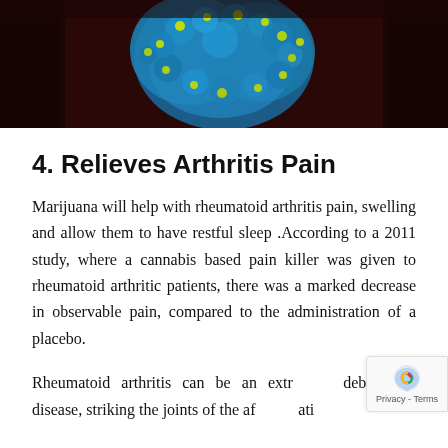[Figure (photo): Microscopic image of what appears to be virus or bacteria particles, colorized in blue and yellow-green against a dark red/brown background.]
4. Relieves Arthritis Pain
Marijuana will help with rheumatoid arthritis pain, swelling and allow them to have restful sleep .According to a 2011 study, where a cannabis based pain killer was given to rheumatoid arthritic patients, there was a marked decrease in observable pain, compared to the administration of a placebo.
Rheumatoid arthritis can be an extr… debilitating disease, striking the joints of the af… ati…